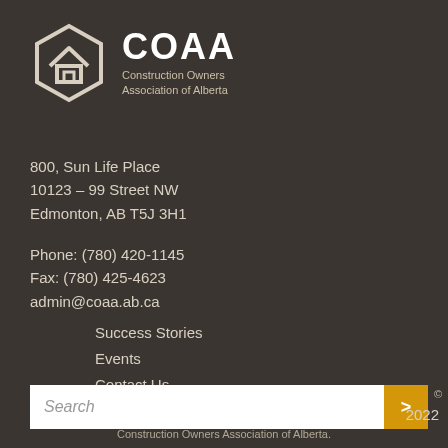[Figure (logo): COAA hexagonal house logo in white outline on dark brown background, with text COAA and Construction Owners Association of Alberta]
800, Sun Life Place
10123 – 99 Street NW
Edmonton, AB T5J 3H1
Phone: (780) 420-1145
Fax: (780) 425-4623
admin@coaa.ab.ca
Success Stories
Events
Contact Us
COAA Newsletter
Search
© 2022
Construction Owners Association of Alberta.